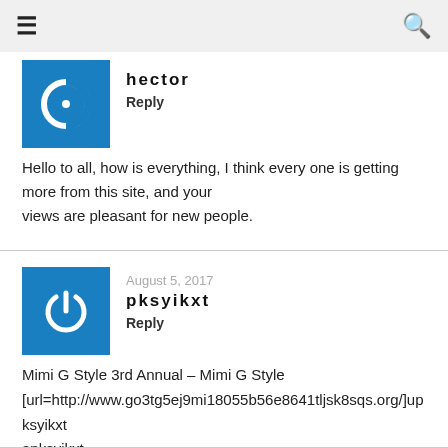≡  🔍
[Figure (illustration): Blue square avatar with white circular arrow/refresh icon (partially visible at top)]
hector
Reply
Hello to all, how is everything, I think every one is getting more from this site, and your views are pleasant for new people.
[Figure (illustration): Blue square avatar with white power button icon]
August 5, 2017
pksyikxt
Reply
Mimi G Style 3rd Annual – Mimi G Style [url=http://www.go3tg5ej9mi18055b56e8641tljsk8sqs.org/]upksyikxt apksyikxt pksyikxt http://www.go3tg5ej9mi18055b56e8641tljsk8sqs.org/